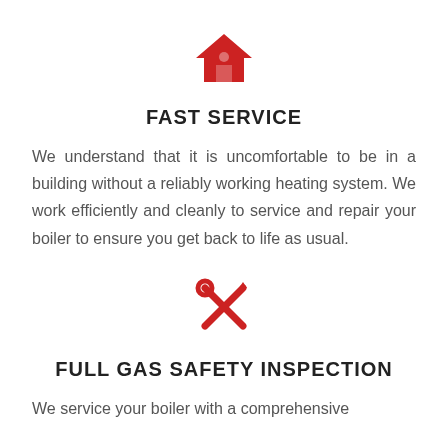[Figure (illustration): Red house icon with a small circle/window detail]
FAST SERVICE
We understand that it is uncomfortable to be in a building without a reliably working heating system. We work efficiently and cleanly to service and repair your boiler to ensure you get back to life as usual.
[Figure (illustration): Red crossed wrench and screwdriver tools icon]
FULL GAS SAFETY INSPECTION
We service your boiler with a comprehensive